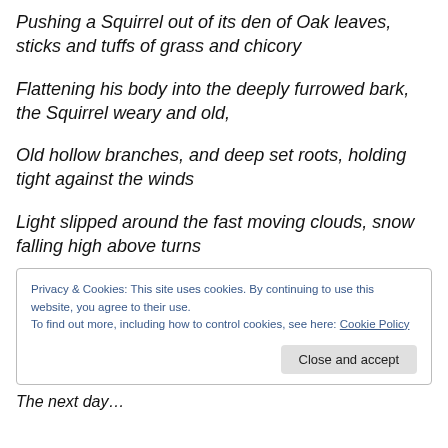Pushing a Squirrel out of its den of Oak leaves, sticks and tuffs of grass and chicory
Flattening his body into the deeply furrowed bark, the Squirrel weary and old,
Old hollow branches, and deep set roots, holding tight against the winds
Light slipped around the fast moving clouds, snow falling high above turns
Privacy & Cookies: This site uses cookies. By continuing to use this website, you agree to their use.
To find out more, including how to control cookies, see here: Cookie Policy
Close and accept
The next day…